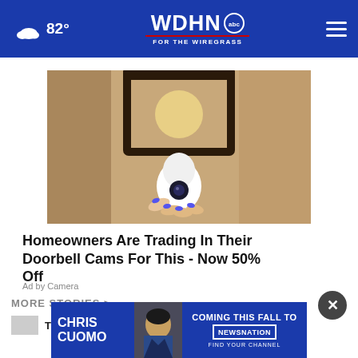82° WDHN abc FOR THE WIREGRASS
[Figure (photo): A white security camera being held up near an outdoor wall lantern mounted on a textured stucco wall. A hand with blue painted nails holds the device.]
Homeowners Are Trading In Their Doorbell Cams For This - Now 50% Off
Ad by Camera
MORE STORIES >
[Figure (photo): Chris Cuomo - Coming This Fall To NewsNation promotional banner advertisement]
This man shows you